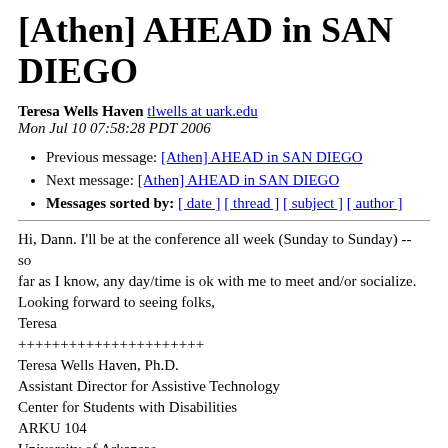[Athen] AHEAD in SAN DIEGO
Teresa Wells Haven tlwells at uark.edu
Mon Jul 10 07:58:28 PDT 2006
Previous message: [Athen] AHEAD in SAN DIEGO
Next message: [Athen] AHEAD in SAN DIEGO
Messages sorted by: [ date ] [ thread ] [ subject ] [ author ]
Hi, Dann. I'll be at the conference all week (Sunday to Sunday) -- so
far as I know, any day/time is ok with me to meet and/or socialize.
Looking forward to seeing folks,
Teresa
++++++++++++++++++++++
Teresa Wells Haven, Ph.D.
Assistant Director for Assistive Technology
Center for Students with Disabilities
ARKU 104
University of Arkansas
Fayetteville, AR 72701